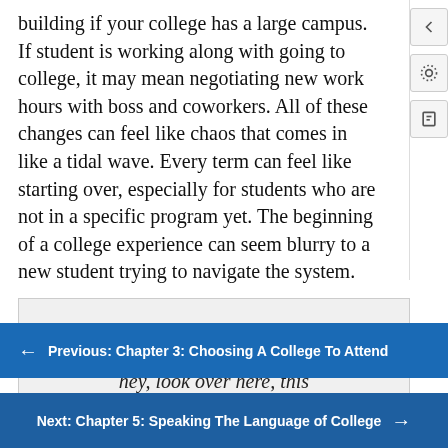building if your college has a large campus. If student is working along with going to college, it may mean negotiating new work hours with boss and coworkers. All of these changes can feel like chaos that comes in like a tidal wave. Every term can feel like starting over, especially for students who are not in a specific program yet. The beginning of a college experience can seem blurry to a new student trying to navigate the system.
[Figure (other): Pull quote box with italic text: "There's no [scroll button overlay] ing light to say, hey, look over here, this" with a circular blue scroll-up button overlaid on the text]
← Previous: Chapter 3: Choosing A College To Attend
Next: Chapter 5: Speaking The Language of College →